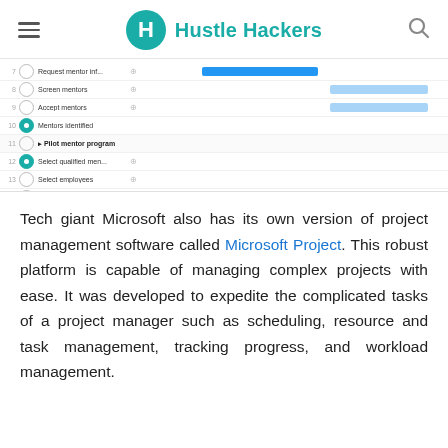Hustle Hackers
[Figure (screenshot): Screenshot of Microsoft Project showing a Gantt chart with task rows including: Request mentor inf., Screen mentors, Accept mentors, Mentors identified, Pilot mentor program (section), Select qualified men., Select employees, Pilot program, Pilot complete, Train mentors (section), Determine skills a. Tasks have checkboxes, some filled in teal/blue, and Gantt bars in blue and light blue on the right side.]
Tech giant Microsoft also has its own version of project management software called Microsoft Project. This robust platform is capable of managing complex projects with ease. It was developed to expedite the complicated tasks of a project manager such as scheduling, resource and task management, tracking progress, and workload management.